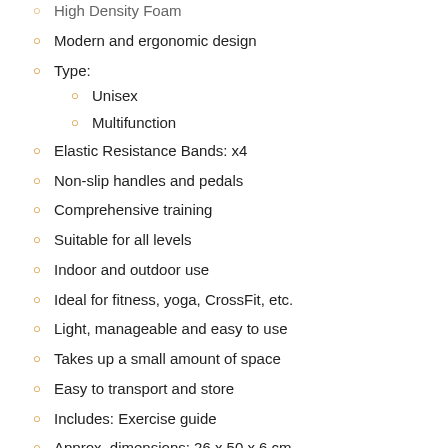High Density Foam
Modern and ergonomic design
Type:
Unisex
Multifunction
Elastic Resistance Bands: x4
Non-slip handles and pedals
Comprehensive training
Suitable for all levels
Indoor and outdoor use
Ideal for fitness, yoga, CrossFit, etc.
Light, manageable and easy to use
Takes up a small amount of space
Easy to transport and store
Includes: Exercise guide
Approx. dimensions: 26 x 50 x 6 cm
Packaging in 24 languages (English, French, Spanish,